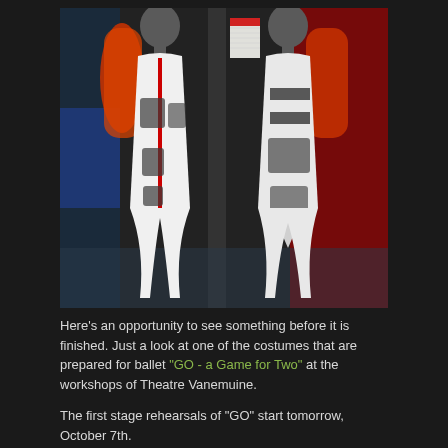[Figure (photo): A mannequin wearing a white ballet costume with red accents and cutouts, showing front and back views, photographed at the workshops of Theatre Vanemuine. Red patterned sleeves are visible, with a dark background including a calendar on the wall.]
Here's an opportunity to see something before it is finished. Just a look at one of the costumes that are prepared for ballet "GO - a Game for Two" at the workshops of Theatre Vanemuine.
The first stage rehearsals of "GO" start tomorrow, October 7th.